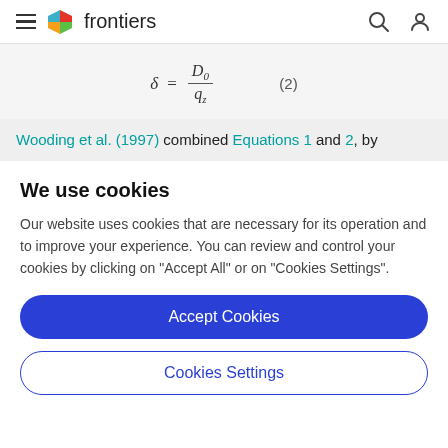frontiers
Wooding et al. (1997) combined Equations 1 and 2, by
We use cookies
Our website uses cookies that are necessary for its operation and to improve your experience. You can review and control your cookies by clicking on "Accept All" or on "Cookies Settings".
Accept Cookies
Cookies Settings